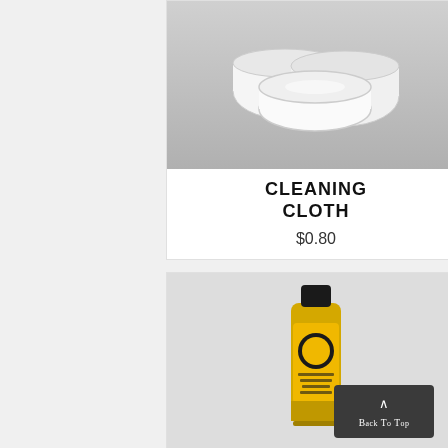[Figure (photo): Folded white cleaning cloths stacked together on a light grey background]
CLEANING CLOTH
$0.80
[Figure (photo): Small yellow bottle of motorcycle leather lotion with black cap and black label with yellow bee design]
MOTORCYCLE